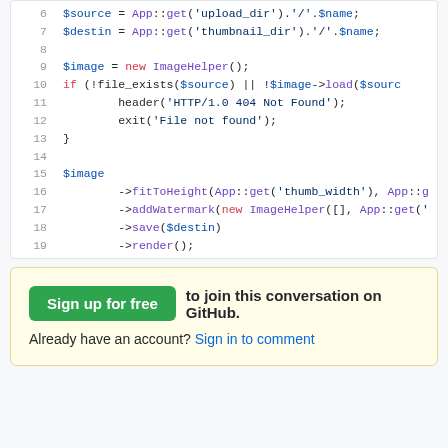[Figure (screenshot): PHP code snippet showing lines 6-19 with syntax highlighting. Variables in blue, keywords in red, method calls in purple.]
Sign up for free to join this conversation on GitHub. Already have an account? Sign in to comment